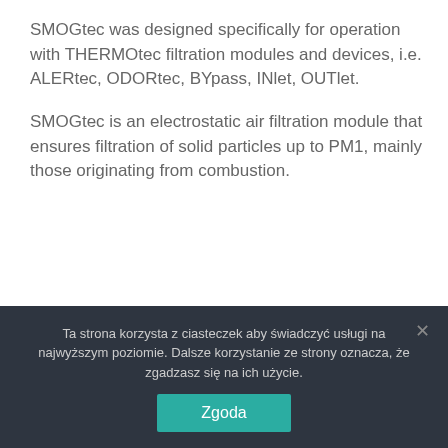SMOGtec was designed specifically for operation with THERMOtec filtration modules and devices, i.e. ALERtec, ODORtec, BYpass, INlet, OUTlet.
SMOGtec is an electrostatic air filtration module that ensures filtration of solid particles up to PM1, mainly those originating from combustion.
Technical Data
Ta strona korzysta z ciasteczek aby świadczyć usługi na najwyższym poziomie. Dalsze korzystanie ze strony oznacza, że zgadzasz się na ich użycie.